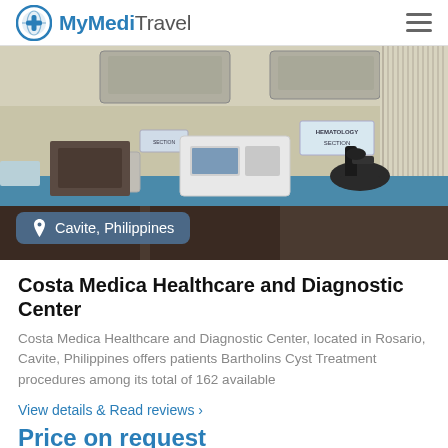MyMediTravel
[Figure (photo): Interior of a medical laboratory at Costa Medica Healthcare and Diagnostic Center in Cavite, Philippines, showing diagnostic equipment including an analyzer machine and microscope on a blue countertop. A sign reading 'Hematology Section' is visible on the wall.]
Cavite, Philippines
Costa Medica Healthcare and Diagnostic Center
Costa Medica Healthcare and Diagnostic Center, located in Rosario, Cavite, Philippines offers patients Bartholins Cyst Treatment procedures among its total of 162 available
View details & Read reviews ›
Price on request